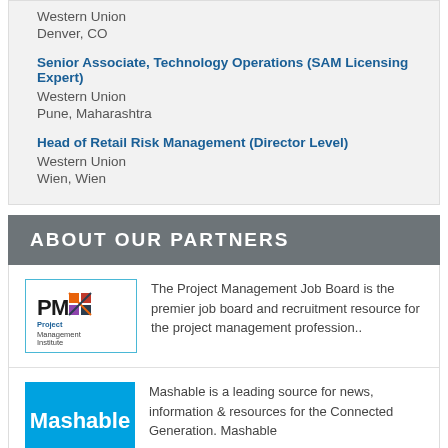Western Union
Denver, CO
Senior Associate, Technology Operations (SAM Licensing Expert)
Western Union
Pune, Maharashtra
Head of Retail Risk Management (Director Level)
Western Union
Wien, Wien
ABOUT OUR PARTNERS
[Figure (logo): Project Management Institute logo]
The Project Management Job Board is the premier job board and recruitment resource for the project management profession..
[Figure (logo): Mashable logo - blue background with white text]
Mashable is a leading source for news, information & resources for the Connected Generation. Mashable